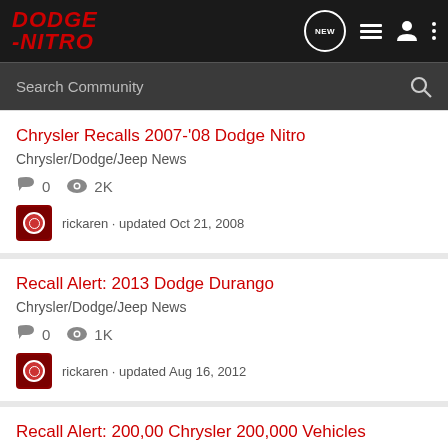DODGE -NITRO
Search Community
Chrysler Recalls 2007-'08 Dodge Nitro
Chrysler/Dodge/Jeep News
0   2K
rickaren · updated Oct 21, 2008
Recall Alert: 2013 Dodge Durango
Chrysler/Dodge/Jeep News
0   1K
rickaren · updated Aug 16, 2012
Recall Alert: 200,00 Chrysler 200,000 Vehicles include NITRO!